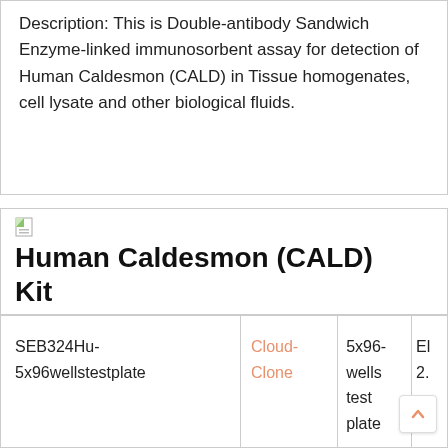Description: This is Double-antibody Sandwich Enzyme-linked immunosorbent assay for detection of Human Caldesmon (CALD) in Tissue homogenates, cell lysate and other biological fluids.
[Figure (logo): Small document/image icon]
Human Caldesmon (CALD) Kit
|  | Brand | Size |  |
| --- | --- | --- | --- |
| SEB324Hu-5x96wellstestplate | Cloud-Clone | 5x96-wells test plate | EL 2... |